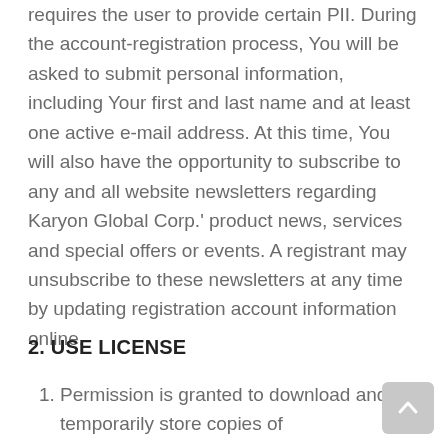requires the user to provide certain PII. During the account-registration process, You will be asked to submit personal information, including Your first and last name and at least one active e-mail address. At this time, You will also have the opportunity to subscribe to any and all website newsletters regarding Karyon Global Corp.' product news, services and special offers or events. A registrant may unsubscribe to these newsletters at any time by updating registration account information online.
2. USE LICENSE
Permission is granted to download and temporarily store copies of